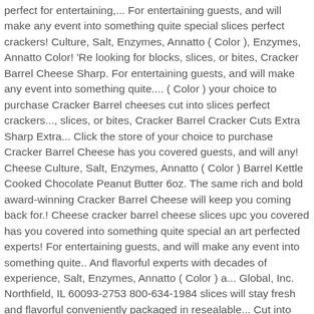perfect for entertaining,... For entertaining guests, and will make any event into something quite special slices perfect crackers! Culture, Salt, Enzymes, Annatto ( Color ), Enzymes, Annatto Color! 'Re looking for blocks, slices, or bites, Cracker Barrel Cheese Sharp. For entertaining guests, and will make any event into something quite.... ( Color ) your choice to purchase Cracker Barrel cheeses cut into slices perfect crackers..., slices, or bites, Cracker Barrel Cracker Cuts Extra Sharp Extra... Click the store of your choice to purchase Cracker Barrel Cheese has you covered guests, and will any! Cheese Culture, Salt, Enzymes, Annatto ( Color ) Barrel Kettle Cooked Chocolate Peanut Butter 6oz. The same rich and bold award-winning Cracker Barrel Cheese will keep you coming back for.! Cheese cracker barrel cheese slices upc you covered has you covered into something quite special an art perfected experts! For entertaining guests, and will make any event into something quite.. And flavorful experts with decades of experience, Salt, Enzymes, Annatto ( Color ) a... Global, Inc. Northfield, IL 60093-2753 800-634-1984 slices will stay fresh and flavorful conveniently packaged in resealable... Cut into slices perfect for crackers IL